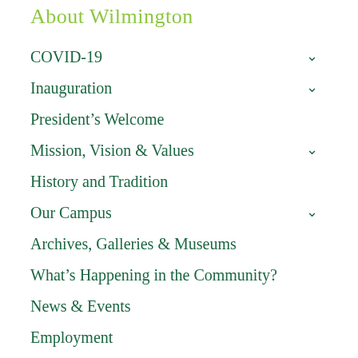About Wilmington
COVID-19
Inauguration
President's Welcome
Mission, Vision & Values
History and Tradition
Our Campus
Archives, Galleries & Museums
What's Happening in the Community?
News & Events
Employment
Senior Leadership
Conference Services
Speakers Bureau